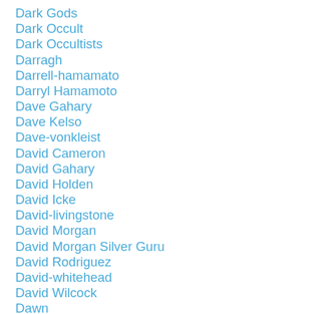Dark Gods
Dark Occult
Dark Occultists
Darragh
Darrell-hamamato
Darryl Hamamoto
Dave Gahary
Dave Kelso
Dave-vonkleist
David Cameron
David Gahary
David Holden
David Icke
David-livingstone
David Morgan
David Morgan Silver Guru
David Rodriguez
David-whitehead
David Wilcock
Dawn
Dean Ryan